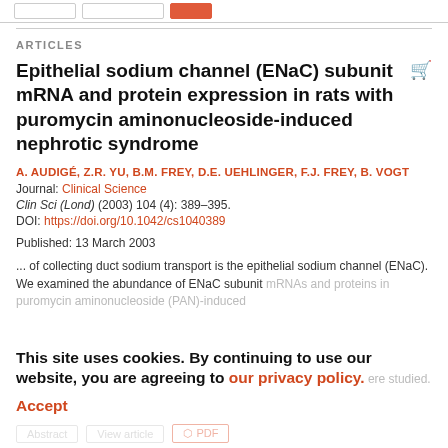ARTICLES
Epithelial sodium channel (ENaC) subunit mRNA and protein expression in rats with puromycin aminonucleoside-induced nephrotic syndrome
A. AUDIGÉ, Z.R. YU, B.M. FREY, D.E. UEHLINGER, F.J. FREY, B. VOGT
Journal: Clinical Science
Clin Sci (Lond) (2003) 104 (4): 389–395.
DOI: https://doi.org/10.1042/cs1040389
Published: 13 March 2003
... of collecting duct sodium transport is the epithelial sodium channel (ENaC). We examined the abundance of ENaC subunit mRNAs and proteins in puromycin aminonucleoside (PAN)-induced
This site uses cookies. By continuing to use our website, you are agreeing to our privacy policy.
Accept